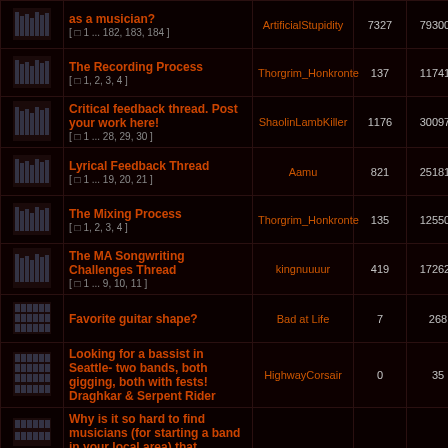|  | Topic | Last Post By | Posts | Views | Last Post |
| --- | --- | --- | --- | --- | --- |
| [icon] | as a musician?
[ 1 ... 182, 183, 184 ] | ArtificialStupidity | 7327 | 793001 | Tue Aug
sou |
| [icon] | The Recording Process
[ 1, 2, 3, 4 ] | Thorgrim_Honkronte | 137 | 117413 | Fri Aug 1
sou |
| [icon] | Critical feedback thread. Post your work here!
[ 1 ... 28, 29, 30 ] | ShaolinLambKiller | 1176 | 300976 | Fri Aug 1
sou |
| [icon] | Lyrical Feedback Thread
[ 1 ... 19, 20, 21 ] | Aamu | 821 | 251812 | Mon Jul
Ha |
| [icon] | The Mixing Process
[ 1, 2, 3, 4 ] | Thorgrim_Honkronte | 135 | 125506 | Mon Jul
odd |
| [icon] | The MA Songwriting Challenges Thread
[ 1 ... 9, 10, 11 ] | kingnuuuur | 419 | 172626 | Mon Aug
Ve |
| [icon] | Favorite guitar shape? | Bad at Life | 7 | 268 | Thu Aug
Hexenr |
| [icon] | Looking for a bassist in Seattle- two bands, both gigging, both with fests! Draghkar & Serpent Rider | HighwayCorsair | 0 | 35 | Thu Aug
Highw |
| [icon] | Why is it so hard to find musicians (for starting a band in your local area) that |  |  |  | Wed Au |